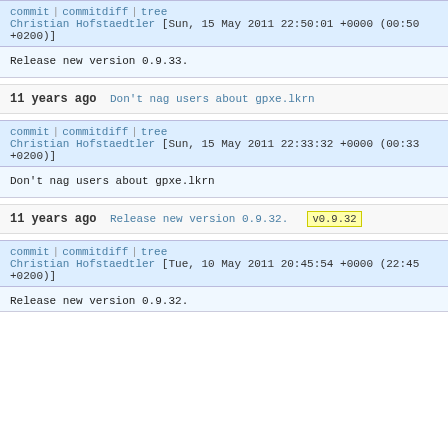commit | commitdiff | tree
Christian Hofstaedtler [Sun, 15 May 2011 22:50:01 +0000 (00:50 +0200)]
Release new version 0.9.33.
11 years ago    Don't nag users about gpxe.lkrn
commit | commitdiff | tree
Christian Hofstaedtler [Sun, 15 May 2011 22:33:32 +0000 (00:33 +0200)]
Don't nag users about gpxe.lkrn
11 years ago    Release new version 0.9.32.  v0.9.32
commit | commitdiff | tree
Christian Hofstaedtler [Tue, 10 May 2011 20:45:54 +0000 (22:45 +0200)]
Release new version 0.9.32.